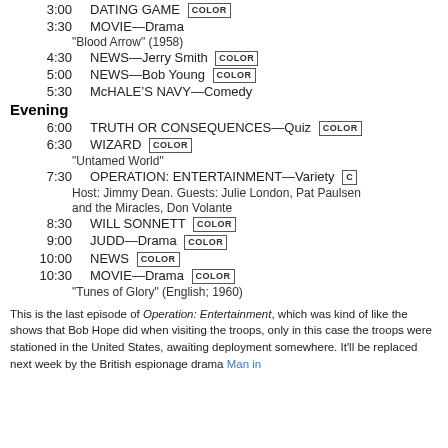3:00 DATING GAME COLOR
3:30 MOVIE—Drama
“Blood Arrow” (1958)
4:30 NEWS—Jerry Smith COLOR
5:00 NEWS—Bob Young COLOR
5:30 McHALE’S NAVY—Comedy
Evening
6:00 TRUTH OR CONSEQUENCES—Quiz COLOR
6:30 WIZARD COLOR
“Untamed World”
7:30 OPERATION: ENTERTAINMENT—Variety COLOR
Host: Jimmy Dean. Guests: Julie London, Pat Paulsen and the Miracles, Don Volante
8:30 WILL SONNETT COLOR
9:00 JUDD—Drama COLOR
10:00 NEWS COLOR
10:30 MOVIE—Drama COLOR
“Tunes of Glory” (English; 1960)
This is the last episode of Operation: Entertainment, which was kind of like the shows that Bob Hope did when visiting the troops, only in this case the troops were stationed in the United States, awaiting deployment somewhere. It’ll be replaced next week by the British espionage drama Man in